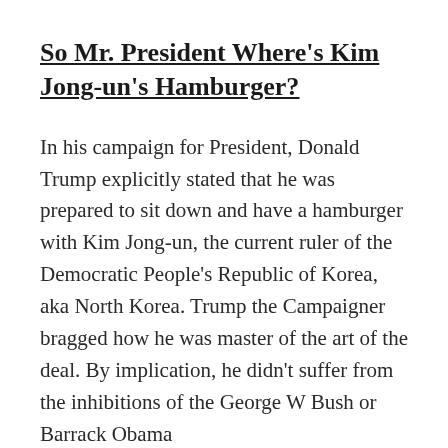So Mr. President Where's Kim Jong-un's Hamburger?
In his campaign for President, Donald Trump explicitly stated that he was prepared to sit down and have a hamburger with Kim Jong-un, the current ruler of the Democratic People's Republic of Korea, aka North Korea. Trump the Campaigner bragged how he was master of the art of the deal. By implication, he didn't suffer from the inhibitions of the George W Bush or Barrack Obama